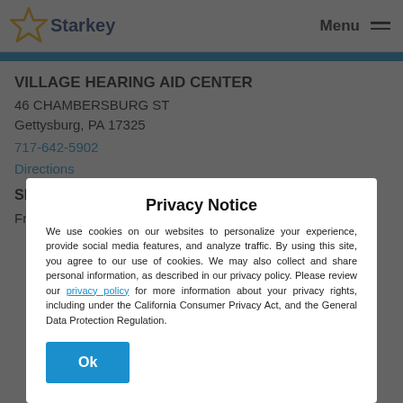Starkey | Menu
VILLAGE HEARING AID CENTER
46 CHAMBERSBURG ST
Gettysburg, PA 17325
717-642-5902
Directions
SERVICES
Free Consultations
Privacy Notice
We use cookies on our websites to personalize your experience, provide social media features, and analyze traffic. By using this site, you agree to our use of cookies. We may also collect and share personal information, as described in our privacy policy. Please review our privacy policy for more information about your privacy rights, including under the California Consumer Privacy Act, and the General Data Protection Regulation.
Ok